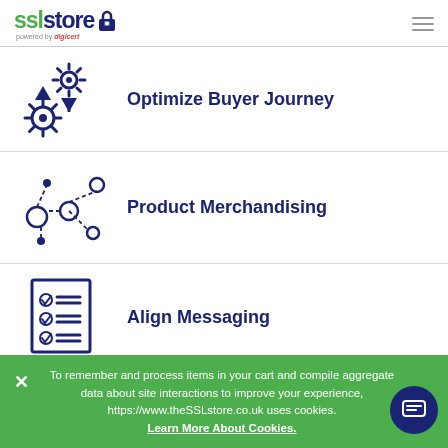sslstore powered by digicert
Optimize Buyer Journey
Product Merchandising
Align Messaging
To remember and process items in your cart and compile aggregate data about site interactions to improve your experience, https://www.theSSLstore.co.uk uses cookies.
Learn More About Cookies.